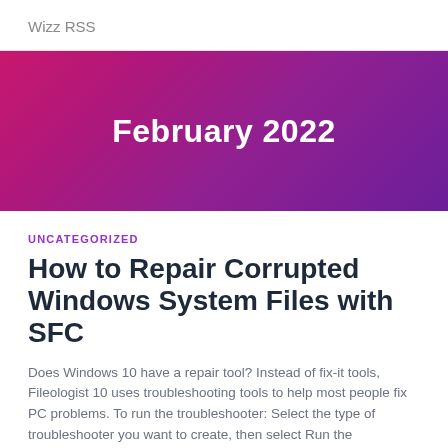Wizz RSS
[Figure (other): Banner with gradient background (pink to purple) displaying 'February 2022' in bold white text]
UNCATEGORIZED
How to Repair Corrupted Windows System Files with SFC
Does Windows 10 have a repair tool? Instead of fix-it tools, Fileologist 10 uses troubleshooting tools to help most people fix PC problems. To run the troubleshooter: Select the type of troubleshooter you want to create, then select Run the